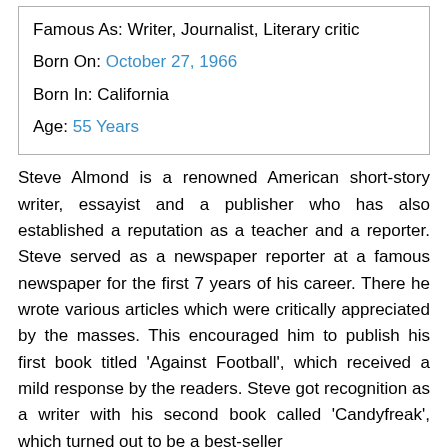| Famous As: Writer, Journalist, Literary critic |
| Born On: October 27, 1966 |
| Born In: California |
| Age: 55 Years |
Steve Almond is a renowned American short-story writer, essayist and a publisher who has also established a reputation as a teacher and a reporter. Steve served as a newspaper reporter at a famous newspaper for the first 7 years of his career. There he wrote various articles which were critically appreciated by the masses. This encouraged him to publish his first book titled 'Against Football', which received a mild response by the readers. Steve got recognition as a writer with his second book called 'Candyfreak', which turned out to be a best-seller